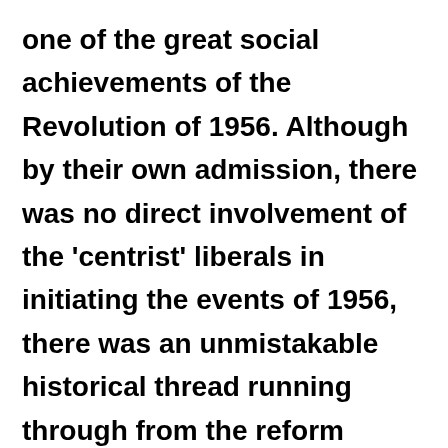one of the great social achievements of the Revolution of 1956. Although by their own admission, there was no direct involvement of the 'centrist' liberals in initiating the events of 1956, there was an unmistakable historical thread running through from the reform movements of the 1930s to the clandestine anti-Nazi resistance of 1944, to the democratic